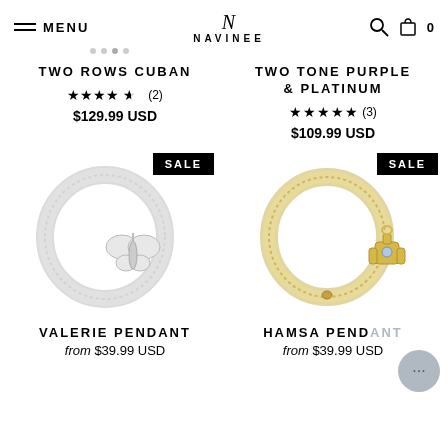MENU | NAVINEE | search | cart 0
TWO ROWS CUBAN ★★★★½ (2) $129.99 USD
TWO TONE PURPLE & PLATINUM ★★★★★ (3) $109.99 USD
[Figure (photo): Silver diamond-encrusted Cuban link chain coiled in circle with butterfly pendant, on white background. SALE badge.]
[Figure (photo): Gold diamond-encrusted Cuban link chain coiled in circle with hamsa hand pendant, on white background. SALE badge.]
VALERIE PENDANT from $39.99 USD
HAMSA PENDANT from $39.99 USD